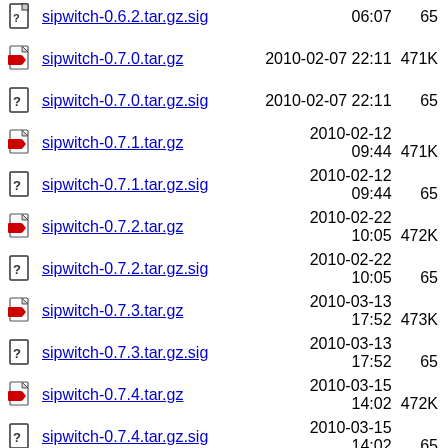sipwitch-0.6.2.tar.gz.sig  06:07  65
sipwitch-0.7.0.tar.gz  2010-02-07 22:11  471K
sipwitch-0.7.0.tar.gz.sig  2010-02-07 22:11  65
sipwitch-0.7.1.tar.gz  2010-02-12 09:44  471K
sipwitch-0.7.1.tar.gz.sig  2010-02-12 09:44  65
sipwitch-0.7.2.tar.gz  2010-02-22 10:05  472K
sipwitch-0.7.2.tar.gz.sig  2010-02-22 10:05  65
sipwitch-0.7.3.tar.gz  2010-03-13 17:52  473K
sipwitch-0.7.3.tar.gz.sig  2010-03-13 17:52  65
sipwitch-0.7.4.tar.gz  2010-03-15 14:02  472K
sipwitch-0.7.4.tar.gz.sig  2010-03-15 14:02  65
sipwitch-0.7.5.tar.gz  2010-03-22 18:50  473K
sipwitch-0.7.5.tar.gz.sig  2010-03-22  65